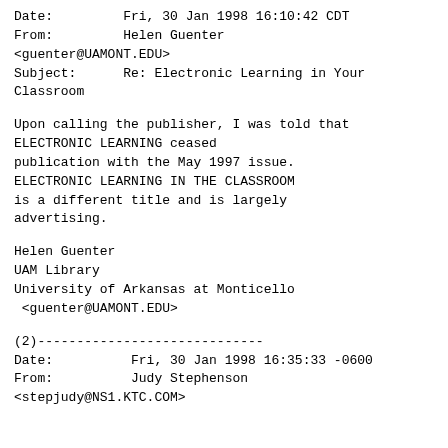Date:         Fri, 30 Jan 1998 16:10:42 CDT
From:         Helen Guenter
<guenter@UAMONT.EDU>
Subject:      Re: Electronic Learning in Your
Classroom
Upon calling the publisher, I was told that
ELECTRONIC LEARNING ceased
publication with the May 1997 issue.
ELECTRONIC LEARNING IN THE CLASSROOM
is a different title and is largely
advertising.
Helen Guenter
UAM Library
University of Arkansas at Monticello
 <guenter@UAMONT.EDU>
(2)-----------------------------
Date:          Fri, 30 Jan 1998 16:35:33 -0600
From:          Judy Stephenson
<stepjudy@NS1.KTC.COM>